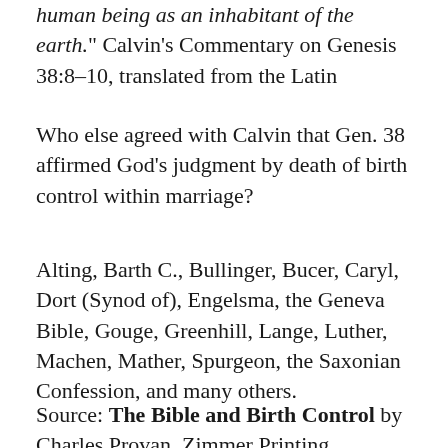“human being as an inhabitant of the earth.” Calvin’s Commentary on Genesis 38:8–10, translated from the Latin
Who else agreed with Calvin that Gen. 38 affirmed God’s judgment by death of birth control within marriage?
Alting, Barth C., Bullinger, Bucer, Caryl, Dort (Synod of), Engelsma, the Geneva Bible, Gouge, Greenhill, Lange, Luther, Machen, Mather, Spurgeon, the Saxonian Confession, and many others.
Source: The Bible and Birth Control by Charles Provan, Zimmer Printing, Monongahela, PA